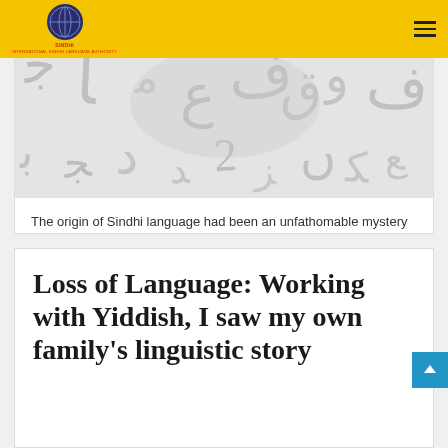SINDHI.ORG | International Sindhi Language Authority
[Figure (photo): Background image of Arabic/Sindhi script characters on a light gray surface]
The origin of Sindhi language had been an unfathomable mystery inundated by the contrasting views of historians, scholars and archeologists…
Read More »
Loss of Language: Working with Yiddish, I saw my own family's linguistic story